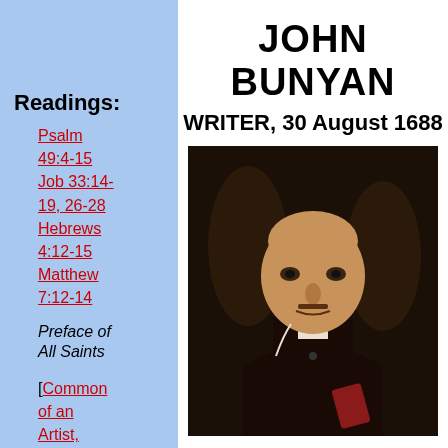JOHN BUNYAN
WRITER, 30 August 1688
Readings:
Psalm 49:4-15
Job 33:14-19, 26-28
Hebrews 4:12-15
Matthew 7:12-14
Preface of All Saints
[Common of an Artist, Writer, or Composer]
[Of Artist and
[Figure (photo): Portrait painting of John Bunyan, a middle-aged man with long dark hair, wearing dark clothing with a white collar, holding a book]
Bunyan was born in 1628 near Bedford, in the agricultural midlands of England. He was the son of a tinker (a mender and seller of metal utensils)